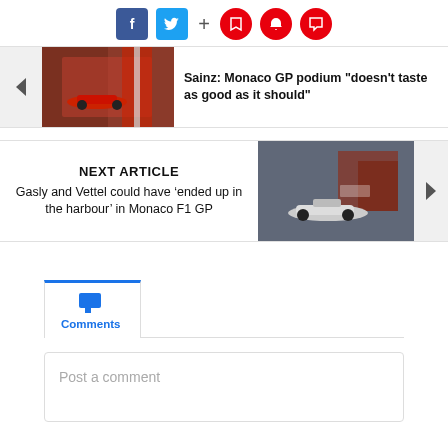[Figure (infographic): Social sharing bar with Facebook, Twitter, plus sign, and three red circular icons (bookmark, notification bell, comment)]
[Figure (photo): Previous article thumbnail showing a Ferrari F1 car at Monaco GP street circuit with red and white barriers]
Sainz: Monaco GP podium "doesn't taste as good as it should"
NEXT ARTICLE
Gasly and Vettel could have ‘ended up in the harbour’ in Monaco F1 GP
[Figure (photo): Next article thumbnail showing an AlphaTauri/Honda F1 car at Monaco GP]
Comments
Post a comment